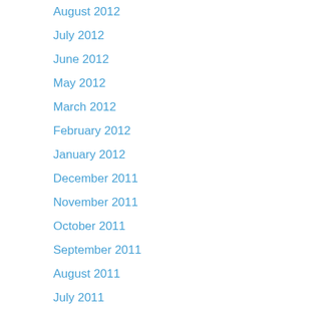August 2012
July 2012
June 2012
May 2012
March 2012
February 2012
January 2012
December 2011
November 2011
October 2011
September 2011
August 2011
July 2011
June 2011
May 2011
April 2011
March 2011
February 2011
January 2011
December 2010